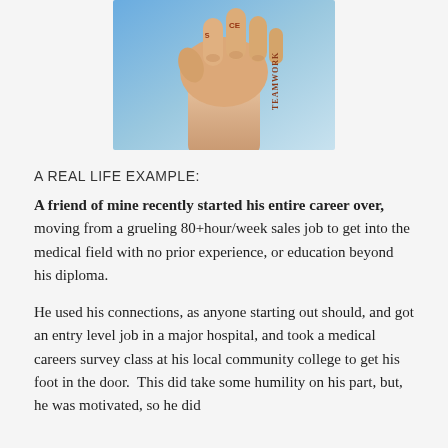[Figure (photo): A raised fist with words written on the fingers and wrist, including 'TEAMWORK', against a blue background.]
A REAL LIFE EXAMPLE:
A friend of mine recently started his entire career over, moving from a grueling 80+hour/week sales job to get into the medical field with no prior experience, or education beyond his diploma.
He used his connections, as anyone starting out should, and got an entry level job in a major hospital, and took a medical careers survey class at his local community college to get his foot in the door.  This did take some humility on his part, but, he was motivated, so he did